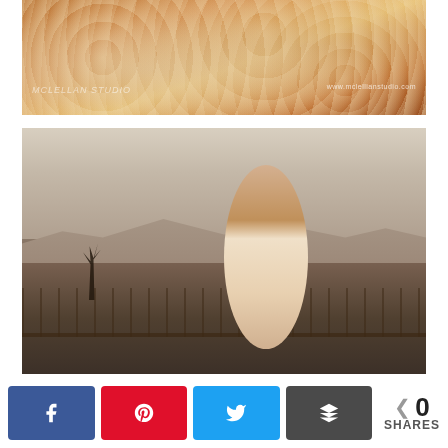[Figure (photo): Close-up photograph of ornate lace fabric with warm golden/amber tones and watermark text 'www.mclellianstudio.com']
[Figure (photo): Sepia-toned photograph of a woman in a white strapless wedding dress with wind-blown dark hair, standing outdoors with desert mountains in the background, leaning on a railing with dead tree branches visible]
0 SHARES